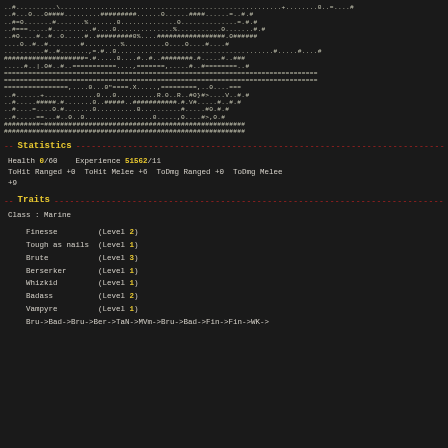[Figure (other): ASCII art game map/dungeon view rendered in monospace characters including #, ., =, 0, and other symbols on a dark background]
-- Statistics
Health 0/60    Experience 51562/11
ToHit Ranged +0  ToHit Melee +6  ToDmg Ranged +0  ToDmg Melee +9
-- Traits
Class : Marine
Finesse         (Level 2)
Tough as nails  (Level 1)
Brute           (Level 3)
Berserker       (Level 1)
Whizkid         (Level 1)
Badass          (Level 2)
Vampyre         (Level 1)
Bru->Bad->Bru->Ber->TaN->MVm->Bru->Bad->Fin->Fin->WK->